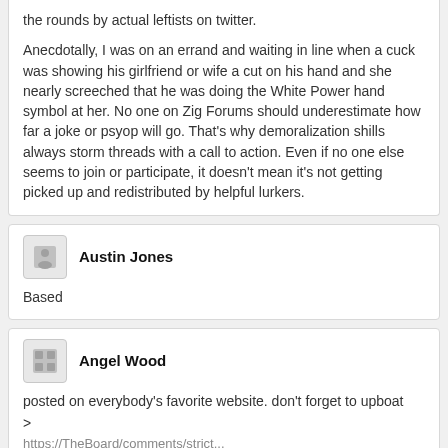the rounds by actual leftists on twitter.

Anecdotally, I was on an errand and waiting in line when a cuck was showing his girlfriend or wife a cut on his hand and she nearly screeched that he was doing the White Power hand symbol at her. No one on Zig Forums should underestimate how far a joke or psyop will go. That's why demoralization shills always storm threads with a call to action. Even if no one else seems to join or participate, it doesn't mean it's not getting picked up and redistributed by helpful lurkers.
Austin Jones
Based
Angel Wood
posted on everybody's favorite website. don't forget to upboat
>